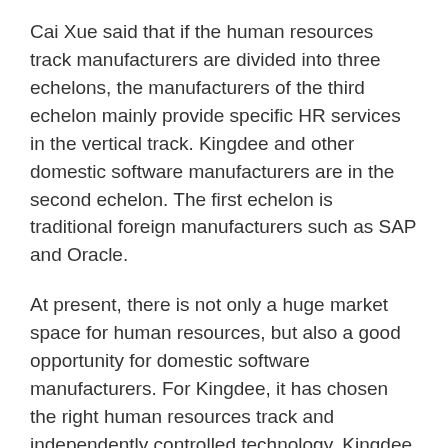Cai Xue said that if the human resources track manufacturers are divided into three echelons, the manufacturers of the third echelon mainly provide specific HR services in the vertical track. Kingdee and other domestic software manufacturers are in the second echelon. The first echelon is traditional foreign manufacturers such as SAP and Oracle.
At present, there is not only a huge market space for human resources, but also a good opportunity for domestic software manufacturers. For Kingdee, it has chosen the right human resources track and independently controlled technology. Kingdee is creating a second curve of rapid growth and has the opportunity to become a leading manufacturer in the HCM field.
[Figure (other): Small bar chart icon (post views icon)]
Post Views: